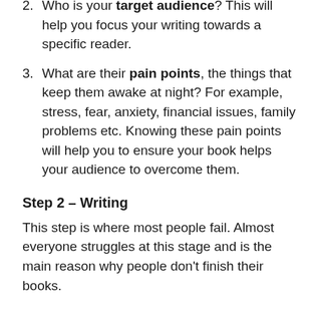2. Who is your target audience? This will help you focus your writing towards a specific reader.
3. What are their pain points, the things that keep them awake at night? For example, stress, fear, anxiety, financial issues, family problems etc. Knowing these pain points will help you to ensure your book helps your audience to overcome them.
Step 2 – Writing
This step is where most people fail. Almost everyone struggles at this stage and is the main reason why people don't finish their books.